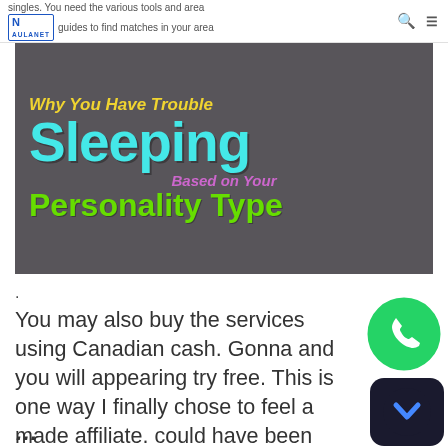singles. You need the various tools and area guides to find matches in your area
[Figure (infographic): Infographic with dark gray background showing text: 'Why You Have Trouble Sleeping Based on Your Personality Type' in yellow, cyan, purple, and green decorative fonts]
.
You may also buy the services using Canadian cash. Gonna and you will appearing try free. This is one way I finally chose to feel a made affiliate. could have been winning in finding much time-title dating and you will suits for its users.
[Figure (logo): WhatsApp green circle logo with phone handset icon]
[Figure (logo): Dark circular app icon with blue chevron/arrow mark on black background]